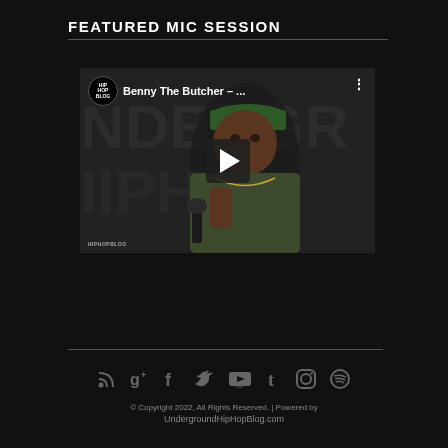FEATURED MIC SESSION
[Figure (screenshot): Embedded YouTube video thumbnail showing Benny The Butcher holding a microphone, wearing a green cap and olive jacket. Video title reads 'Benny The Butcher - ...' with an Underground Hip Hop Blog logo and play button overlay.]
[Figure (infographic): Social media icons row: RSS feed, Google+, Facebook, Twitter, YouTube, Tumblr, Instagram, Spotify]
© Copyright 2022, All Rights Reserved. | Powered by UndergroundHipHopBlog.com